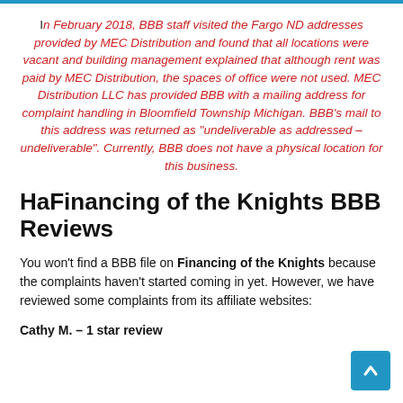In February 2018, BBB staff visited the Fargo ND addresses provided by MEC Distribution and found that all locations were vacant and building management explained that although rent was paid by MEC Distribution, the spaces of office were not used. MEC Distribution LLC has provided BBB with a mailing address for complaint handling in Bloomfield Township Michigan. BBB's mail to this address was returned as "undeliverable as addressed – undeliverable". Currently, BBB does not have a physical location for this business.
HaFinancing of the Knights BBB Reviews
You won't find a BBB file on Financing of the Knights because the complaints haven't started coming in yet. However, we have reviewed some complaints from its affiliate websites:
Cathy M. – 1 star review